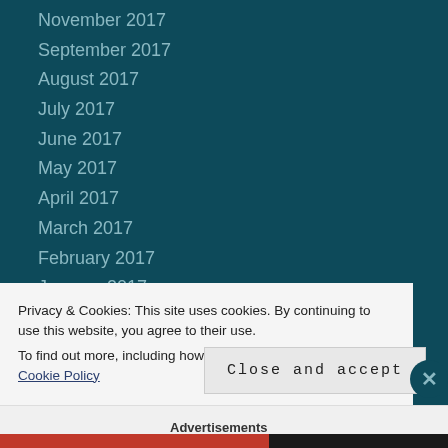November 2017
September 2017
August 2017
July 2017
June 2017
May 2017
April 2017
March 2017
February 2017
January 2017
December 2016
November 2016
October 2016
Privacy & Cookies: This site uses cookies. By continuing to use this website, you agree to their use.
To find out more, including how to control cookies, see here: Cookie Policy
Close and accept
Advertisements